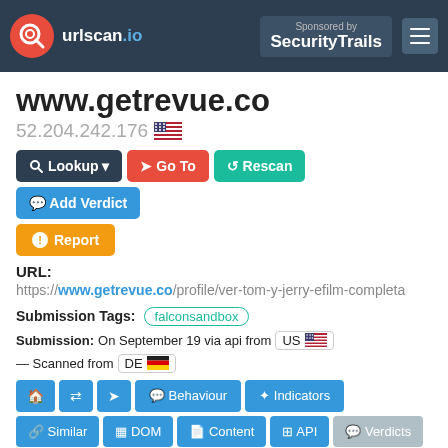urlscan.io — Sponsored by SecurityTrails
www.getrevue.co
52.204.242.176 🇺🇸
URL: https://www.getrevue.co/profile/ver-tom-y-jerry-efilm-completa
Submission Tags: falconsandbox
Submission: On September 19 via api from US — Scanned from DE